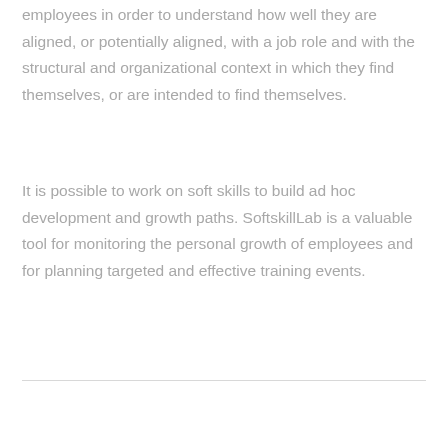employees in order to understand how well they are aligned, or potentially aligned, with a job role and with the structural and organizational context in which they find themselves, or are intended to find themselves.
It is possible to work on soft skills to build ad hoc development and growth paths. SoftskillLab is a valuable tool for monitoring the personal growth of employees and for planning targeted and effective training events.